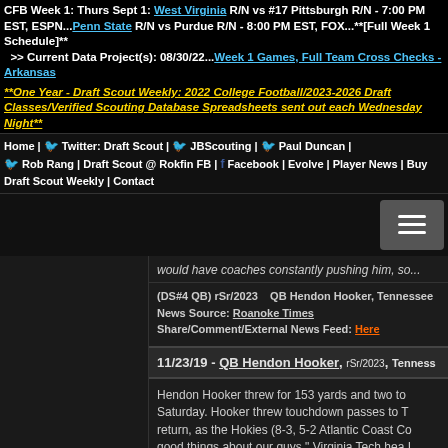CFB Week 1: Thurs Sept 1: West Virginia R/N vs #17 Pittsburgh R/N - 7:00 PM EST, ESPN...Penn State R/N vs Purdue R/N - 8:00 PM EST, FOX...**[Full Week 1 Schedule]**
 >> Current Data Project(s): 08/30/22...Week 1 Games, Full Team Cross Checks - Arkansas
**One Year - Draft Scout Weekly: 2022 College Football/2023-2026 Draft Classes/Verified Scouting Database Spreadsheets sent out each Wednesday Night**
Home | Twitter: Draft Scout | JBScouting | Paul Duncan | Rob Rang | Draft Scout @ Rokfin FB | Facebook | Evolve | Player News | Buy Draft Scout Weekly | Contact
would have coaches constantly pushing him, so...
(DS#4 QB) rSr/2023    QB Hendon Hooker, Tennessee
News Source: Roanoke Times
Share/Comment/External News Feed: Here
11/23/19 - QB Hendon Hooker, rSr/2023, Tennesse...
Hendon Hooker threw for 153 yards and two to Saturday. Hooker threw touchdown passes to T return, as the Hokies (8-3, 5-2 Atlantic Coast Co good things about our guys," Virginia Tech hea I really did. I'm enjoying every moment with ther circumstances and stuck together."